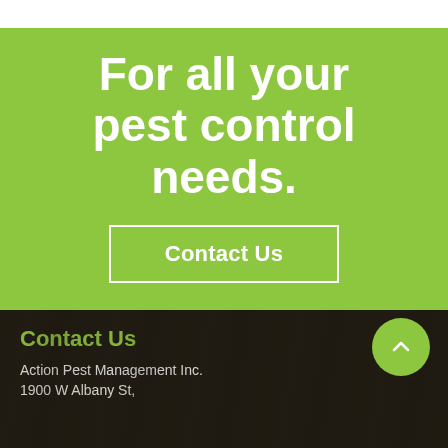For all your pest control needs.
Contact Us
Contact Us
Action Pest Management Inc.
1900 W Albany St,